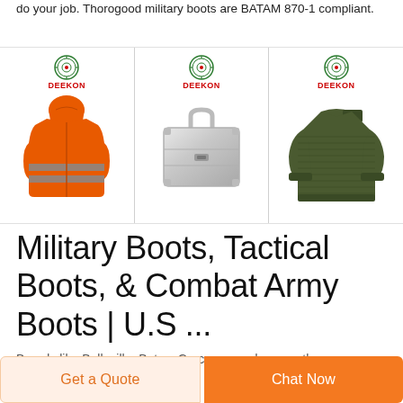do your job. Thorogood military boots are BATAM 870-1 compliant.
[Figure (photo): Three product images side by side, each with a DEEKON logo at top. Left: orange high-visibility safety jacket with reflective stripes. Center: silver aluminum briefcase/attache case. Right: olive/dark green military ribbed sweater.]
Military Boots, Tactical Boots, & Combat Army Boots | U.S ...
Brands like Belleville, Bates, Corcoran, and many others
Get a Quote
Chat Now